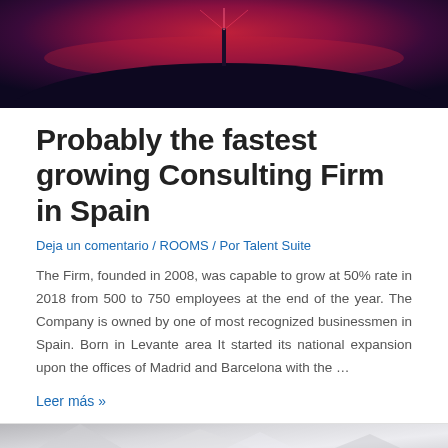[Figure (photo): Dark atmospheric photo showing a silhouette of a hill or island with a lighthouse against a dramatic red-purple sunset sky]
Probably the fastest growing Consulting Firm in Spain
Deja un comentario / ROOMS / Por Talent Suite
The Firm, founded in 2008, was capable to grow at 50% rate in 2018 from 500 to 750 employees at the end of the year. The Company is owned by one of most recognized businessmen in Spain. Born in Levante area It started its national expansion upon the offices of Madrid and Barcelona with the …
Leer más »
[Figure (photo): Partial view of a light grey/silver abstract or architectural photo at the bottom of the page]